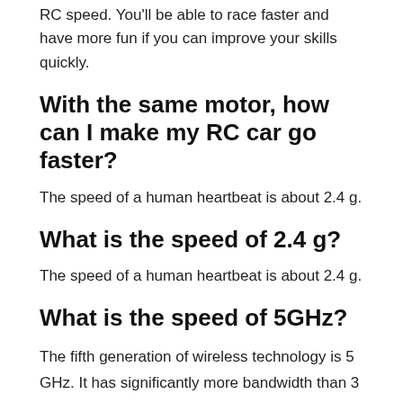RC speed. You'll be able to race faster and have more fun if you can improve your skills quickly.
With the same motor, how can I make my RC car go faster?
The speed of a human heartbeat is about 2.4 g.
What is the speed of 2.4 g?
The speed of a human heartbeat is about 2.4 g.
What is the speed of 5GHz?
The fifth generation of wireless technology is 5 GHz. It has significantly more bandwidth than 3 GHz and 4 GHz, making it ideal for connecting